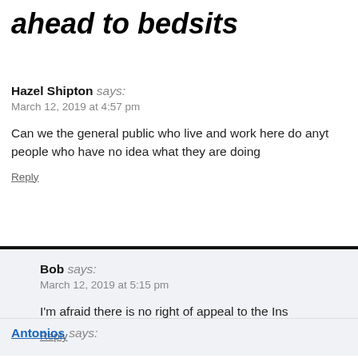ahead to bedsits
Hazel Shipton says:
March 12, 2019 at 4:57 pm

Can we the general public who live and work here do anything to stop people who have no idea what they are doing

Reply
Bob says:
March 12, 2019 at 5:15 pm

I'm afraid there is no right of appeal to the Ins

Reply
Antonios says: